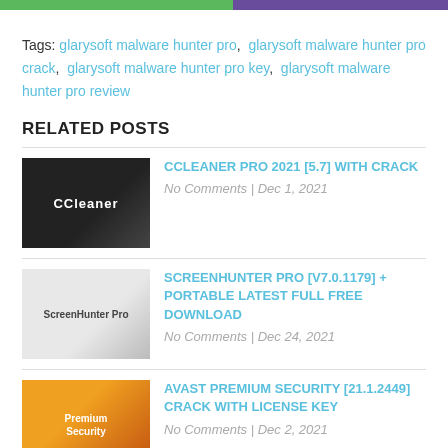Tags: glarysoft malware hunter pro, glarysoft malware hunter pro crack, glarysoft malware hunter pro key, glarysoft malware hunter pro review
RELATED POSTS
CCLEANER PRO 2021 [5.7] WITH CRACK
No Comments | Dec 1, 2021
SCREENHUNTER PRO [V7.0.1179] + PORTABLE LATEST FULL FREE DOWNLOAD
No Comments | Dec 24, 2021
AVAST PREMIUM SECURITY [21.1.2449] CRACK WITH LICENSE KEY
No Comments | Dec 2, 2021
LOARIS TROJAN REMOVER CRACK WITH ACTIVATION KEY [V3.1.72] FREE DOWNLOAD